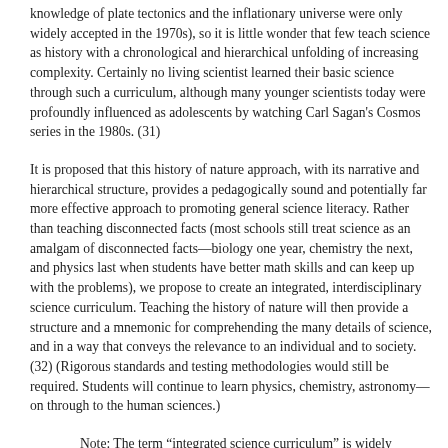knowledge of plate tectonics and the inflationary universe were only widely accepted in the 1970s), so it is little wonder that few teach science as history with a chronological and hierarchical unfolding of increasing complexity. Certainly no living scientist learned their basic science through such a curriculum, although many younger scientists today were profoundly influenced as adolescents by watching Carl Sagan's Cosmos series in the 1980s. (31)
It is proposed that this history of nature approach, with its narrative and hierarchical structure, provides a pedagogically sound and potentially far more effective approach to promoting general science literacy. Rather than teaching disconnected facts (most schools still treat science as an amalgam of disconnected facts—biology one year, chemistry the next, and physics last when students have better math skills and can keep up with the problems), we propose to create an integrated, interdisciplinary science curriculum. Teaching the history of nature will then provide a structure and a mnemonic for comprehending the many details of science, and in a way that conveys the relevance to an individual and to society. (32) (Rigorous standards and testing methodologies would still be required. Students will continue to learn physics, chemistry, astronomy—on through to the human sciences.)
Note: The term “integrated science curriculum” is widely